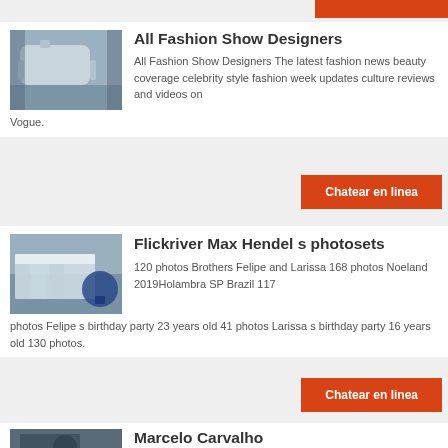[Figure (photo): Industrial machinery photo - cylindrical equipment in factory]
All Fashion Show Designers
All Fashion Show Designers The latest fashion news beauty coverage celebrity style fashion week updates culture reviews and videos on Vogue.
Chatear en linea
[Figure (photo): Industrial machinery photo - white machine with blue motor]
Flickriver Max Hendel s photosets
120 photos Brothers Felipe and Larissa 168 photos Noeland 2019Holambra SP Brazil 117 photos Felipe s birthday party 23 years old 41 photos Larissa s birthday party 16 years old 130 photos.
Chatear en linea
[Figure (photo): Industrial machinery photo - dark mechanical equipment]
Marcelo Carvalho
Business Analytics CoordinatorBeauty Personal